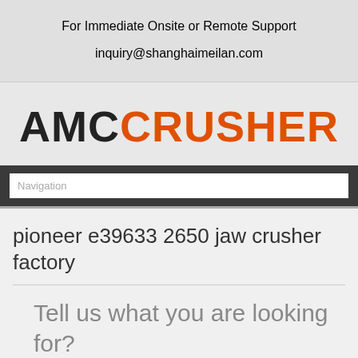For Immediate Onsite or Remote Support
inquiry@shanghaimeilan.com
AMCCRUSHER
Navigation
pioneer e39633 2650 jaw crusher factory
Tell us what you are looking for?